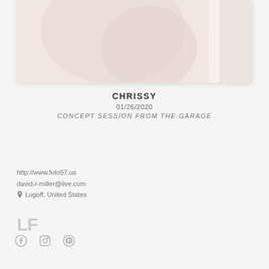[Figure (photo): Faded/washed out portrait photo, partially visible, appears to show a person, with a lighter panel on the right side. Displayed in a card with rounded corners and drop shadow.]
CHRISSY
01/26/2020
CONCEPT SESSION FROM THE GARAGE
http://www.foto57.us
david-r-miller@live.com
Lugoff, United States
[Figure (logo): LF logo text in grey]
[Figure (other): Social media icons: Facebook, Instagram, Pinterest]